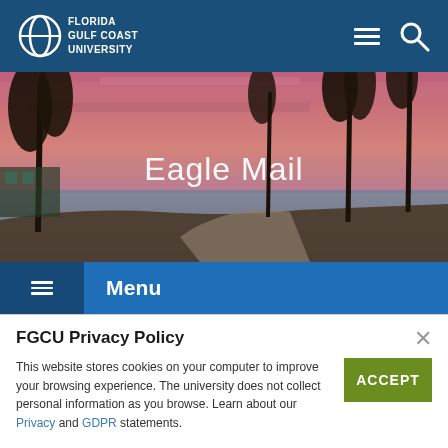Florida Gulf Coast University
[Figure (photo): Hero banner photo of palm trees along a waterfront path at sunset with a pink and purple sky, overlaid with the text 'Eagle Mail']
Eagle Mail
Menu
FGCU Privacy Policy
This website stores cookies on your computer to improve your browsing experience. The university does not collect personal information as you browse. Learn about our Privacy and GDPR statements.